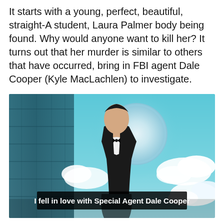It starts with a young, perfect, beautiful, straight-A student, Laura Palmer body being found. Why would anyone want to kill her? It turns out that her murder is similar to others that have occurred, bring in FBI agent Dale Cooper (Kyle MacLachlen) to investigate.
[Figure (photo): A composite promotional image featuring a man in a tuxedo with a bow tie standing in front of a large glowing moon, with blue wooden planks visible on the left and fluffy white clouds in the background. A subtitle bar reads 'I fell in love with Special Agent Dale Cooper'.]